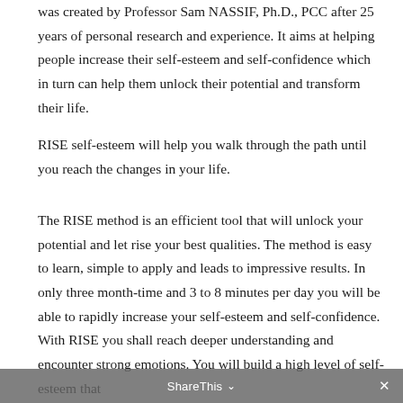was created by Professor Sam NASSIF, Ph.D., PCC after 25 years of personal research and experience. It aims at helping people increase their self-esteem and self-confidence which in turn can help them unlock their potential and transform their life.
RISE self-esteem will help you walk through the path until you reach the changes in your life.
The RISE method is an efficient tool that will unlock your potential and let rise your best qualities. The method is easy to learn, simple to apply and leads to impressive results. In only three month-time and 3 to 8 minutes per day you will be able to rapidly increase your self-esteem and self-confidence. With RISE you shall reach deeper understanding and encounter strong emotions. You will build a high level of self-esteem that
ShareThis ×